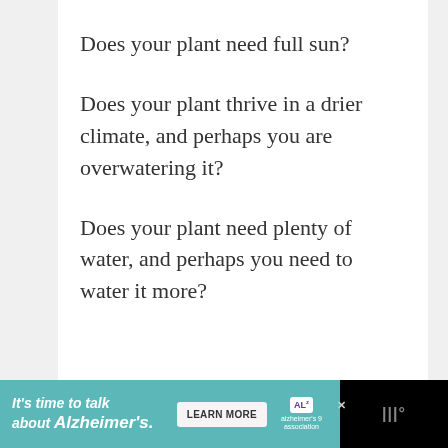Does your plant need full sun?
Does your plant thrive in a drier climate, and perhaps you are overwatering it?
Does your plant need plenty of water, and perhaps you need to water it more?
It’s time to talk about Alzheimer’s. LEARN MORE